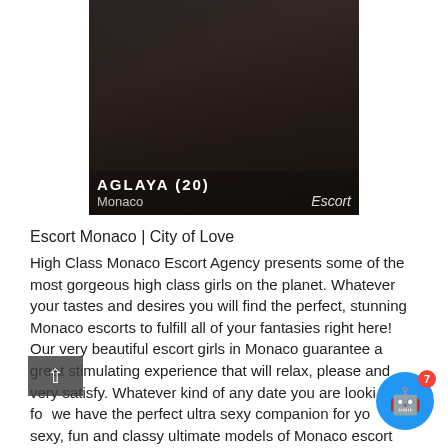[Figure (photo): Photo of a woman in black lingerie with overlay text showing name AGLAYA (20), location Monaco, and label Escort]
Escort Monaco | City of Love
High Class Monaco Escort Agency presents some of the most gorgeous high class girls on the planet. Whatever your tastes and desires you will find the perfect, stunning Monaco escorts to fulfill all of your fantasies right here! Our very beautiful escort girls in Monaco guarantee a great stimulating experience that will relax, please and very satisfy. Whatever kind of any date you are looking for we have the perfect ultra sexy companion for you, sexy, fun and classy ultimate models of Monaco escort